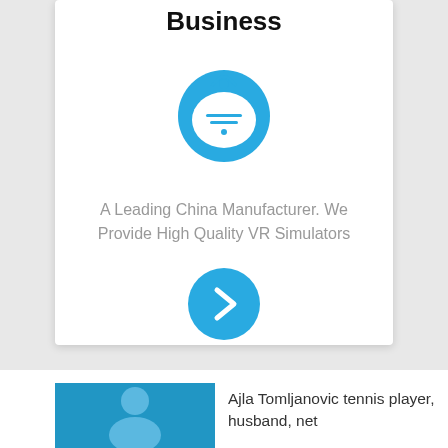Business
[Figure (logo): Blue circular Chinese-style face/chef icon with decorative elements]
A Leading China Manufacturer. We Provide High Quality VR Simulators
[Figure (illustration): Blue circular button with white right-pointing chevron arrow]
[Figure (photo): Photo of Ajla Tomljanovic, a tennis player]
Ajla Tomljanovic tennis player, husband, net